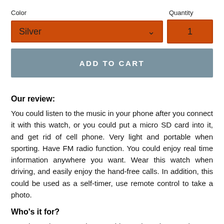Color
Quantity
Silver
1
ADD TO CART
Our review:
You could listen to the music in your phone after you connect it with this watch, or you could put a micro SD card into it, and get rid of cell phone. Very light and portable when sporting. Have FM radio function. You could enjoy real time information anywhere you want. Wear this watch when driving, and easily enjoy the hand-free calls. In addition, this could be used as a self-timer, use remote control to take a photo.
Who's it for?
People on the go wanting portable music and smart phone